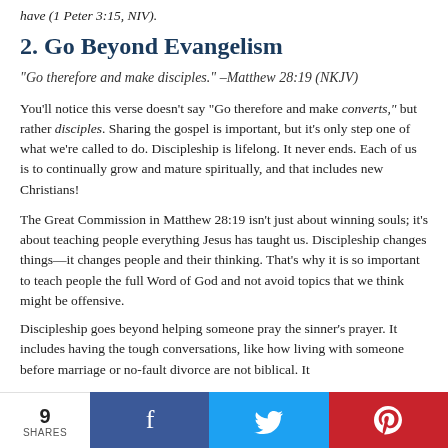have (1 Peter 3:15, NIV).
2. Go Beyond Evangelism
“Go therefore and make disciples.” –Matthew 28:19 (NKJV)
You’ll notice this verse doesn’t say “Go therefore and make converts,” but rather disciples. Sharing the gospel is important, but it’s only step one of what we’re called to do. Discipleship is lifelong. It never ends. Each of us is to continually grow and mature spiritually, and that includes new Christians!
The Great Commission in Matthew 28:19 isn’t just about winning souls; it’s about teaching people everything Jesus has taught us. Discipleship changes things—it changes people and their thinking. That’s why it is so important to teach people the full Word of God and not avoid topics that we think might be offensive.
Discipleship goes beyond helping someone pray the sinner’s prayer. It includes having the tough conversations, like how living with someone before marriage or no-fault divorce are not biblical. It
9 SHARES | Facebook | Twitter | Pinterest